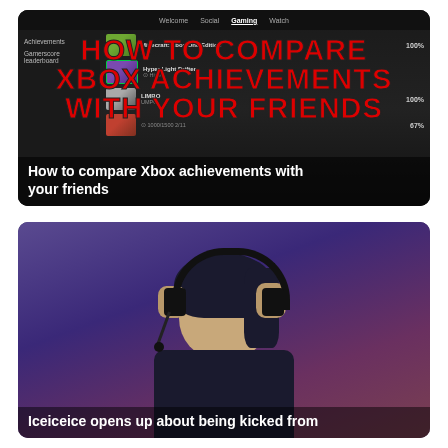[Figure (screenshot): Xbox achievements comparison UI screenshot with overlaid bold red text reading 'HOW TO COMPARE XBOX ACHIEVEMENTS WITH YOUR FRIENDS' and white bold subtitle at bottom]
How to compare Xbox achievements with your friends
[Figure (photo): Photo of a person (Iceiceice) wearing gaming headset, adjusting headphones, with purple/blue bokeh background]
Iceiceice opens up about being kicked from